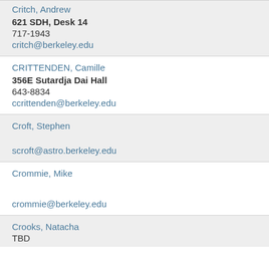Critch, Andrew
621 SDH, Desk 14
717-1943
critch@berkeley.edu
CRITTENDEN, Camille
356E Sutardja Dai Hall
643-8834
ccrittenden@berkeley.edu
Croft, Stephen
scroft@astro.berkeley.edu
Crommie, Mike
crommie@berkeley.edu
Crooks, Natacha
TBD